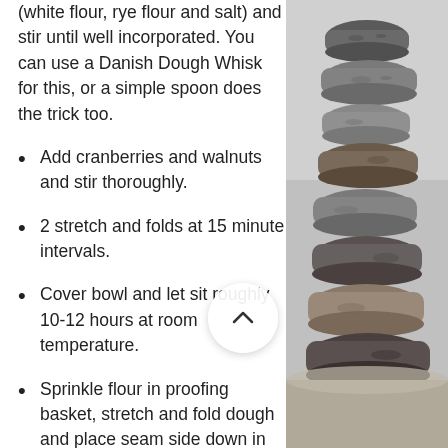(white flour, rye flour and salt) and stir until well incorporated. You can use a Danish Dough Whisk for this, or a simple spoon does the trick too.
Add cranberries and walnuts and stir thoroughly.
2 stretch and folds at 15 minute intervals.
Cover bowl and let sit roughly 10-12 hours at room temperature.
Sprinkle flour in proofing basket, stretch and fold dough and place seam side down in basket. For this part I improvised. I placed a clean cloth inside a bowl, sprinkled flour on it, and placed my dough on top. I then covered
[Figure (photo): A stack of balanced stones/rocks photographed against a blurred background, arranged vertically along the right side of the page.]